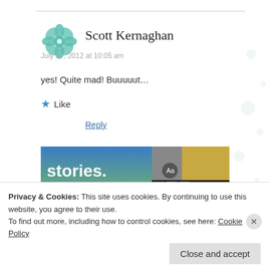[Figure (logo): Teal geometric mandala/snowflake avatar icon for Scott Kernaghan]
Scott Kernaghan
July 17, 2012 at 10:05 am
yes! Quite mad! Buuuuut...
★ Like
Reply
[Figure (screenshot): Partial banner image showing 'stories.' text on blue/green gradient background with book cover imagery on the right]
Privacy & Cookies: This site uses cookies. By continuing to use this website, you agree to their use.
To find out more, including how to control cookies, see here: Cookie Policy
Close and accept